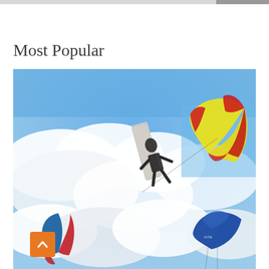Most Popular
[Figure (photo): A kitesurfer performing an aerial maneuver high in a cloudy blue sky, with a large yellow and red kite visible on the right, a blue and red kite in the lower left, and a blue parafoil kite in the lower right.]